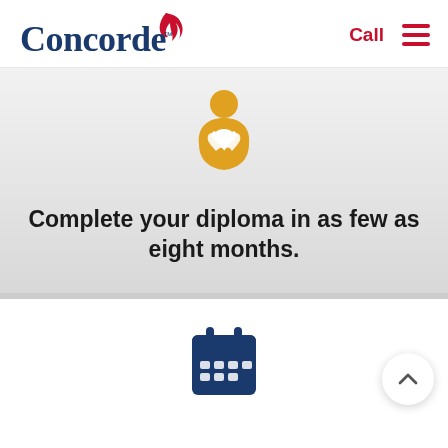Concorde | Call | Menu
[Figure (illustration): Golden/amber colored icon of a person figure holding a heart, representing healthcare or care-giving]
Complete your diploma in as few as eight months.
[Figure (illustration): Dark blue calendar icon, partially visible at the bottom of the page]